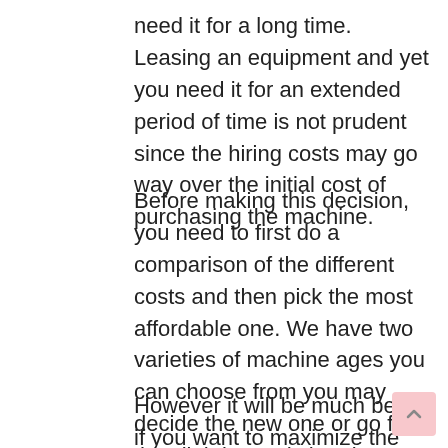need it for a long time. Leasing an equipment and yet you need it for an extended period of time is not prudent since the hiring costs may go way over the initial cost of purchasing the machine.
Before making this decision, you need to first do a comparison of the different costs and then pick the most affordable one. We have two varieties of machine ages you can choose from you may decide the new one or go for the slightly used chambers. By default a new cryotherapy machine will be more costly than the used one.
However it will be much better if you want to maximize the years of service from it. The other